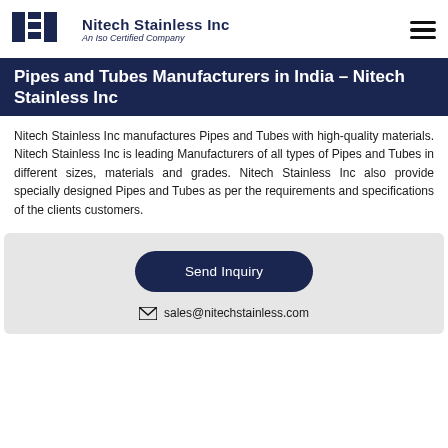Nitech Stainless Inc — An Iso Certified Company
Pipes and Tubes Manufacturers in India – Nitech Stainless Inc
Nitech Stainless Inc manufactures Pipes and Tubes with high-quality materials. Nitech Stainless Inc is leading Manufacturers of all types of Pipes and Tubes in different sizes, materials and grades. Nitech Stainless Inc also provide specially designed Pipes and Tubes as per the requirements and specifications of the clients customers.
[Figure (other): Send Inquiry button (dark navy rounded rectangle) and email contact row with envelope icon and sales@nitechstainless.com]
sales@nitechstainless.com